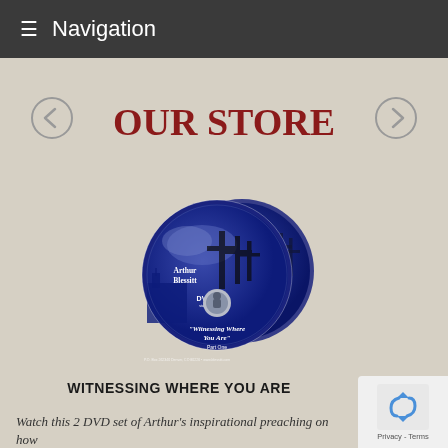≡  Navigation
OUR STORE
[Figure (photo): Two blue DVDs labeled 'Arthur Blessitt' with title 'Witnessing Where You Are' Part One and Part Two, showing crosses silhouetted against a cloudy sky]
WITNESSING WHERE YOU ARE
Watch this 2 DVD set of Arthur's inspirational preaching on how